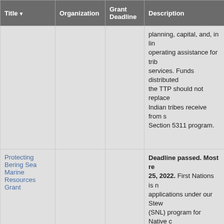| Title | Organization | Grant Deadline | Description |
| --- | --- | --- | --- |
|  |  |  | planning, capital, and, in limited cases, operating assistance for tribal transit services. Funds distributed through the TTP should not replace funds Indian tribes receive from state Section 5311 program. |
| Protecting Bering Sea Marine Resources Grant | First Nations |  | Deadline passed. Most recent: 25, 2022. First Nations is now accepting applications under our Stewardship (SNL) program for Native communities working to protect marine resources in the Bering Sea ecoregion. Through this program, First Nations will provide grants to Bering Sea Native communities to support stewardship of marine resources needed to sustain communities and people. First Nations will award approximately 10 grants to eligible organizations. Organizations not been formalized as a nonprofit can apply through a fiscal sponsor or apply here. |